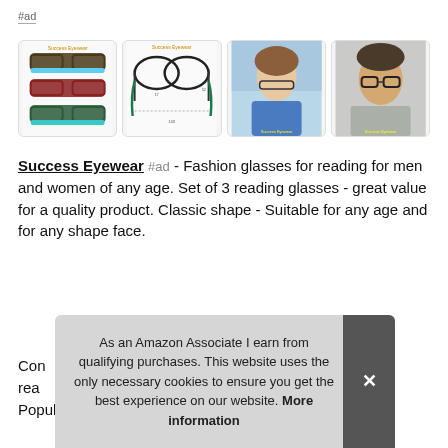#ad
[Figure (photo): Four product images of reading glasses by Success Eyewear: three stacked glasses in different colors, a technical dimension diagram, a woman holding glasses, and a man putting on glasses.]
Success Eyewear #ad - Fashion glasses for reading for men and women of any age. Set of 3 reading glasses - great value for a quality product. Classic shape - Suitable for any age and for any shape face.
Con... rea... Popular Colors.
As an Amazon Associate I earn from qualifying purchases. This website uses the only necessary cookies to ensure you get the best experience on our website. More information